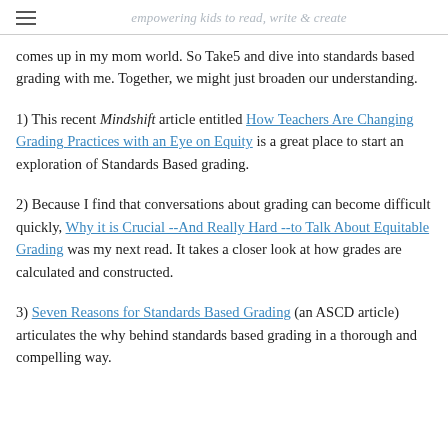empowering kids to read, write & create
comes up in my mom world. So Take5 and dive into standards based grading with me. Together, we might just broaden our understanding.
1) This recent Mindshift article entitled How Teachers Are Changing Grading Practices with an Eye on Equity is a great place to start an exploration of Standards Based grading.
2) Because I find that conversations about grading can become difficult quickly, Why it is Crucial --And Really Hard --to Talk About Equitable Grading was my next read. It takes a closer look at how grades are calculated and constructed.
3) Seven Reasons for Standards Based Grading (an ASCD article) articulates the why behind standards based grading in a thorough and compelling way.